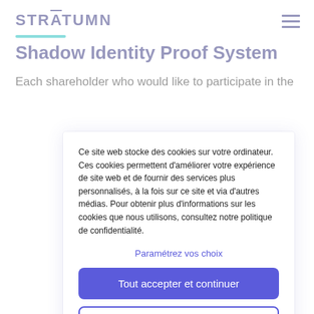[Figure (logo): STRATUMN logo in dark navy bold uppercase letters with a macron over the A]
Shadow Identity Proof System
Each shareholder who would like to participate in the
Ce site web stocke des cookies sur votre ordinateur. Ces cookies permettent d'améliorer votre expérience de site web et de fournir des services plus personnalisés, à la fois sur ce site et via d'autres médias. Pour obtenir plus d'informations sur les cookies que nous utilisons, consultez notre politique de confidentialité.
Paramétrez vos choix
Tout accepter et continuer
Continuer sans accepter